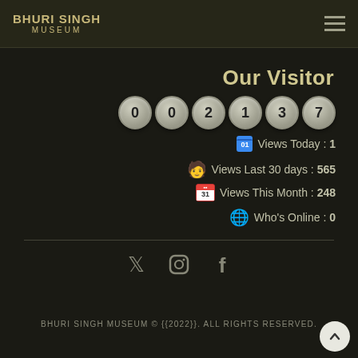BHURI SINGH MUSEUM
Our Visitor
002137
Views Today : 1
Views Last 30 days : 565
Views This Month : 248
Who's Online : 0
[Figure (other): Social media icons: Twitter, Instagram, Facebook]
BHURI SINGH MUSEUM © {{2022}}. ALL RIGHTS RESERVED.